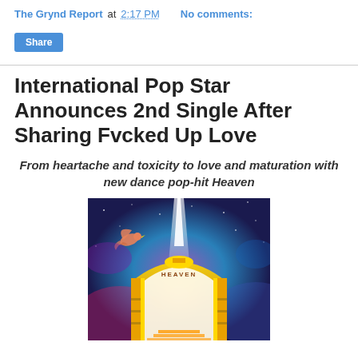The Grynd Report at 2:17 PM   No comments:
Share
International Pop Star Announces 2nd Single After Sharing Fvcked Up Love
From heartache and toxicity to love and maturation with new dance pop-hit Heaven
[Figure (illustration): Album or single artwork for 'Heaven' showing a glowing golden gate/arch with a dove in flight against a cosmic blue and purple starry background, with bright white light emanating from the center of the arch.]